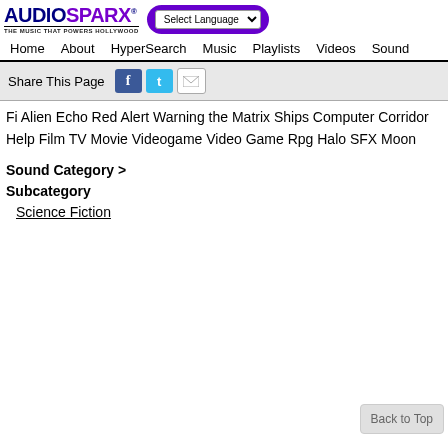[Figure (logo): AudioSparx logo with tagline 'THE MUSIC THAT POWERS HOLLYWOOD']
Select Language [dropdown]
Home  About  HyperSearch  Music  Playlists  Videos  Sound
Share This Page [Facebook] [Twitter] [Email]
Fi Alien Echo Red Alert Warning the Matrix Ships Computer Corridor Help Film TV Movie Videogame Video Game Rpg Halo SFX Moon
Sound Category > Subcategory
Science Fiction